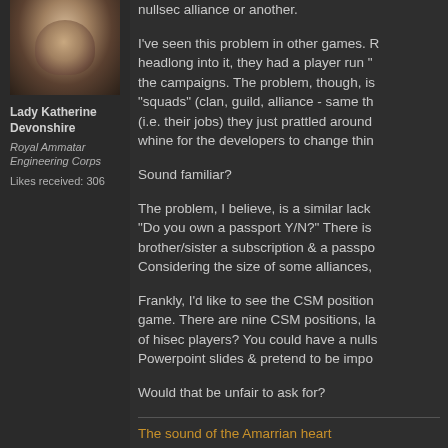[Figure (photo): Avatar portrait of Lady Katherine Devonshire, a medieval/fantasy style character in armor]
Lady Katherine Devonshire
Royal Ammatar Engineering Corps
Likes received: 306
nullsec alliance or another.
I've seen this problem in other games. R... headlong into it, they had a player run "... the campaigns. The problem, though, is "squads" (clan, guild, alliance - same th... (i.e. their jobs) they just prattled around... whine for the developers to change thin...
Sound familiar?
The problem, I believe, is a similar lack... "Do you own a passport Y/N?" There is... brother/sister a subscription & a passpo... Considering the size of some alliances,...
Frankly, I'd like to see the CSM position... game. There are nine CSM positions, la... of hisec players? You could have a nulls... Powerpoint slides & pretend to be impo...
Would that be unfair to ask for?
The sound of the Amarrian heart